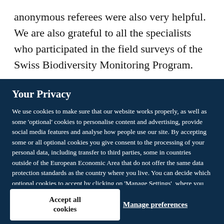anonymous referees were also very helpful. We are also grateful to all the specialists who participated in the field surveys of the Swiss Biodiversity Monitoring Program.
Your Privacy
We use cookies to make sure that our website works properly, as well as some 'optional' cookies to personalise content and advertising, provide social media features and analyse how people use our site. By accepting some or all optional cookies you give consent to the processing of your personal data, including transfer to third parties, some in countries outside of the European Economic Area that do not offer the same data protection standards as the country where you live. You can decide which optional cookies to accept by clicking on 'Manage Settings', where you can also find more information about how your personal data is processed. Further information can be found in our privacy policy.
Accept all cookies
Manage preferences